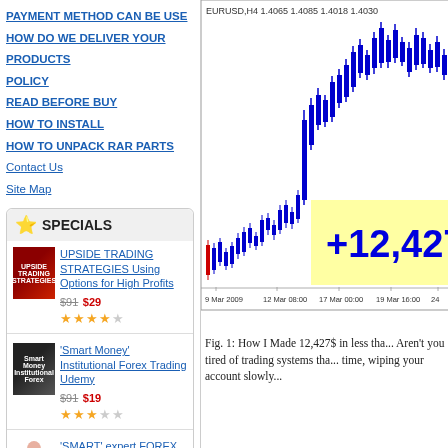PAYMENT METHOD CAN BE USE
HOW DO WE DELIVER YOUR PRODUCTS
POLICY
READ BEFORE BUY
HOW TO INSTALL
HOW TO UNPACK RAR PARTS
Contact Us
Site Map
SPECIALS
UPSIDE TRADING STRATEGIES Using Options for High Profits $91 $29
'Smart Money' Institutional Forex Trading Udemy $91 $19
'SMART' expert FOREX ADVISOR generating profits 99% in 3 month
[Figure (continuous-plot): EURUSD H4 candlestick chart showing price rise from 9 Mar 2009 to 24 Mar 2009. Header shows EURUSD,H4 1.4065 1.4085 1.4018 1.4030. Large yellow overlay text shows +12,427]
Fig. 1: How I Made 12,427$ in less tha... Aren't you tired of trading systems tha... time, wiping your account slowly...